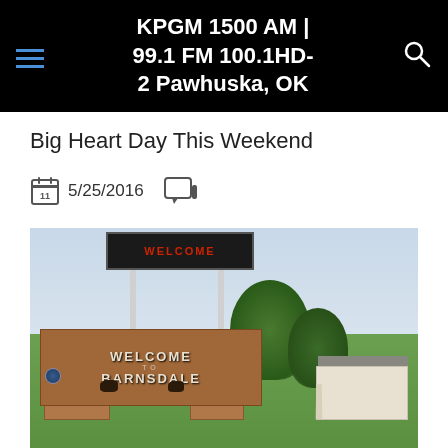KPGM 1500 AM | 99.1 FM 100.1HD-2 Pawhuska, OK
Big Heart Day This Weekend
11  5/25/2016
[Figure (photo): Welcome to Barnsdale sign — brick pillars with an electronic LED welcome sign on poles above, green trees in background, a white building to the right, green lawn.]